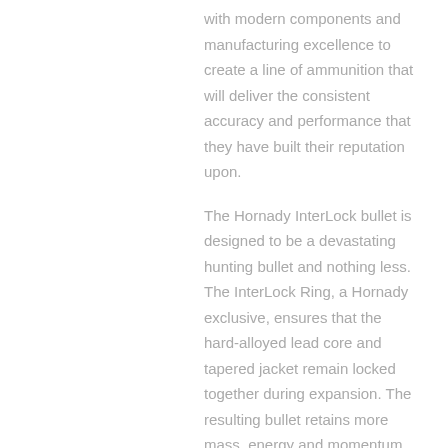with modern components and manufacturing excellence to create a line of ammunition that will deliver the consistent accuracy and performance that they have built their reputation upon.
The Hornady InterLock bullet is designed to be a devastating hunting bullet and nothing less. The InterLock Ring, a Hornady exclusive, ensures that the hard-alloyed lead core and tapered jacket remain locked together during expansion. The resulting bullet retains more mass, energy and momentum after impact and transfers that energy into the target. It is this reliable stopping power that has earned the InterLock a worldwide reputation as a bullet for the serious hunter. This ammunition is new production, non-corrosive, in boxer primed, reloadable brass cases.
| Label | Value |
| --- | --- |
| Cartridge | 25-06 Remington |
| Grain Weight | 117 Grains |
| Quantity | 500 Round |